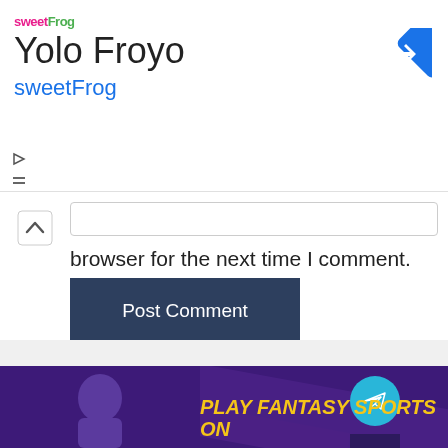[Figure (screenshot): sweetFrog ad banner showing 'Yolo Froyo sweetFrog' with logo, navigation icons, and blue diamond direction icon]
browser for the next time I comment.
[Figure (other): Post Comment button - dark blue rectangular button]
[Figure (screenshot): Fantasy sports advertisement banner with purple background, cricket player, gold badge logo, telegram circle button, and text 'PLAY FANTASY SPORTS ON']